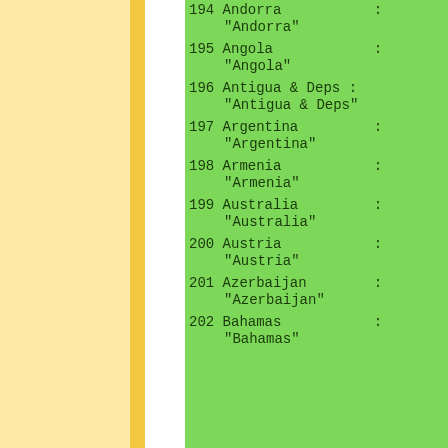194 Andorra           :
    "Andorra"
195 Angola            :
    "Angola"
196 Antigua & Deps :
    "Antigua & Deps"
197 Argentina         :
    "Argentina"
198 Armenia           :
    "Armenia"
199 Australia         :
    "Australia"
200 Austria           :
    "Austria"
201 Azerbaijan        :
    "Azerbaijan"
202 Bahamas           :
    "Bahamas"